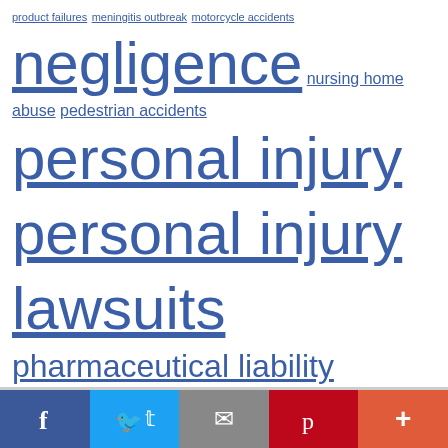product failures meningitis outbreak motorcycle accidents negligence nursing home abuse pedestrian accidents personal injury personal injury lawsuits pharmaceutical liability playground safety premises liability prescription errors product liability attorneys product recalls product safety lawsuits seatbelt failure slip & fall Tennessee malpractice lawyer Tennessee truck accidents Tennessee truck accident safety regulation tort law toy safety tractor trailer accidents train accidents truck accident settlements workers' comp wrongful death
[Figure (infographic): Social media sharing bar with Facebook (dark blue), Twitter (light blue), Email (gray), Pinterest (red), and More (orange-red) buttons]